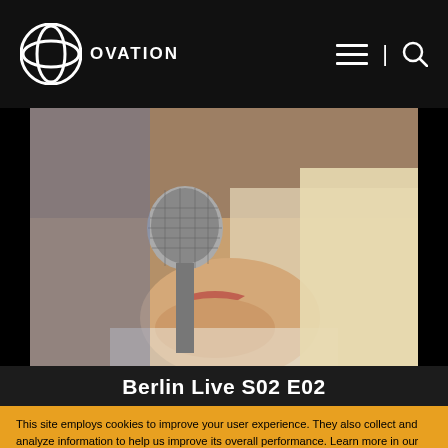OVATION
[Figure (photo): Close-up photo of a blonde woman singing into a microphone, shot from below]
Berlin Live S02 E02
This site employs cookies to improve your user experience. They also collect and analyze information to help us improve its overall performance. Learn more in our Privacy Policy. By continuing to use this site or by closing this banner, you consent to our use of these cookies.
LEARN MORE
ACCEPT